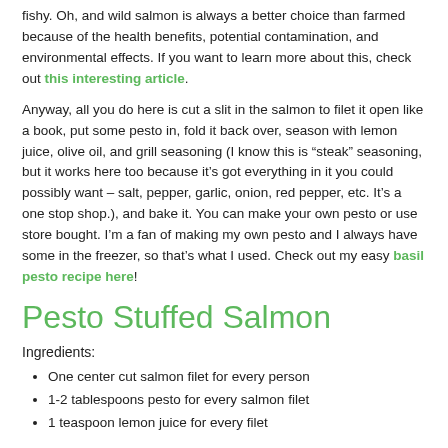fishy.  Oh, and wild salmon is always a better choice than farmed because of the health benefits, potential contamination, and environmental effects.  If you want to learn more about this, check out this interesting article.
Anyway, all you do here is cut a slit in the salmon to filet it open like a book, put some pesto in, fold it back over, season with lemon juice, olive oil, and grill seasoning (I know this is “steak” seasoning, but it works here too because it’s got everything in it you could possibly want – salt, pepper, garlic, onion, red pepper, etc.  It’s a one stop shop.), and bake it.  You can make your own pesto or use store bought. I’m a fan of making my own pesto and I always have some in the freezer, so that’s what I used.  Check out my easy basil pesto recipe here!
Pesto Stuffed Salmon
Ingredients:
One center cut salmon filet for every person
1-2 tablespoons pesto for every salmon filet
1 teaspoon lemon juice for every filet